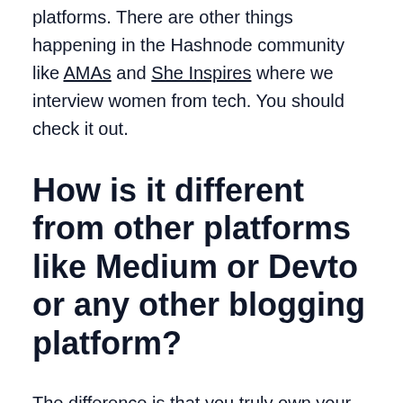platforms. There are other things happening in the Hashnode community like AMAs and She Inspires where we interview women from tech. You should check it out.
How is it different from other platforms like Medium or Devto or any other blogging platform?
The difference is that you truly own your content at Hashnode. Medium or Dev doesn't let you own